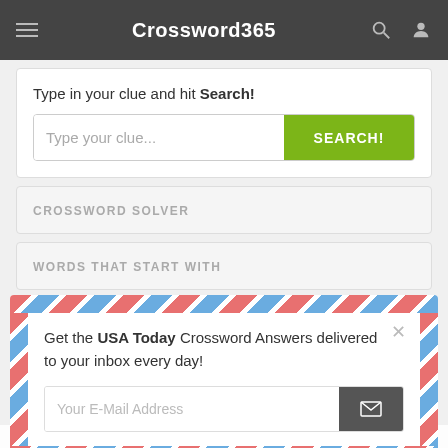Crossword365
Type in your clue and hit Search!
[Figure (screenshot): Search input field with placeholder 'Type your clue...' and green SEARCH! button]
CROSSWORD SOLVER
WORDS THAT START WITH
[Figure (infographic): Email newsletter sign-up modal with air mail border design. Text: Get the USA Today Crossword Answers delivered to your inbox every day! Email input field with submit button.]
This website uses cookies to ensure you get the best experience on our website.